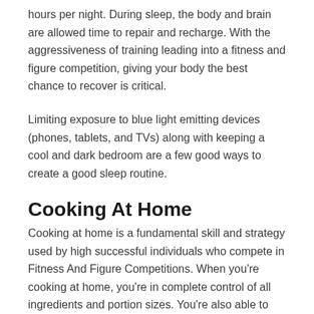hours per night. During sleep, the body and brain are allowed time to repair and recharge. With the aggressiveness of training leading into a fitness and figure competition, giving your body the best chance to recover is critical.
Limiting exposure to blue light emitting devices (phones, tablets, and TVs) along with keeping a cool and dark bedroom are a few good ways to create a good sleep routine.
Cooking At Home
Cooking at home is a fundamental skill and strategy used by high successful individuals who compete in Fitness And Figure Competitions. When you're cooking at home, you're in complete control of all ingredients and portion sizes. You're also able to leverage bulk preparation of food which further increases the convenience of performance based